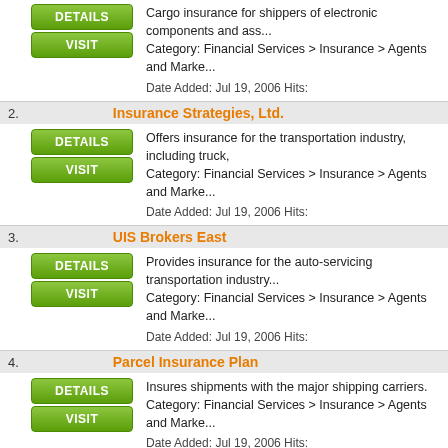1. Cargo insurance for shippers of electronic components and ass... Category: Financial Services > Insurance > Agents and Marke... Date Added: Jul 19, 2006 Hits:
2. Insurance Strategies, Ltd. Offers insurance for the transportation industry, including truck,... Category: Financial Services > Insurance > Agents and Marke... Date Added: Jul 19, 2006 Hits:
3. UIS Brokers East Provides insurance for the auto-servicing transportation industry... Category: Financial Services > Insurance > Agents and Marke... Date Added: Jul 19, 2006 Hits:
4. Parcel Insurance Plan Insures shipments with the major shipping carriers. Category: Financial Services > Insurance > Agents and Marke... Date Added: Jul 19, 2006 Hits:
5. Ramon International Insurance Brokers Marine insurance for the shipping and transportation industry. R... Category: Financial Services > Insurance > Agents and Marke...